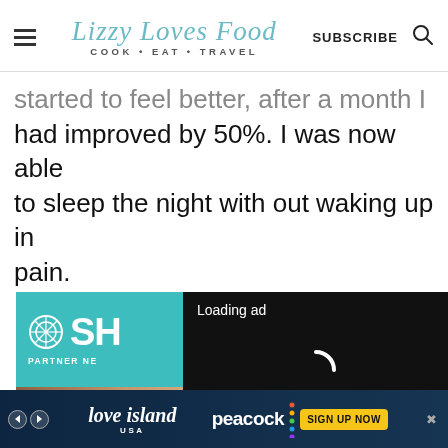Lizzy Loves Food — COOK • EAT • TRAVEL
started to feel better, after a month I had improved by 50%. I was now able to sleep the night with out waking up in pain.
[Figure (screenshot): Video ad loading overlay showing 'Loading ad' text, a spinner icon, and video playback controls (pause, fullscreen, mute) on a black background, overlapping a teal SHRM Partner Network banner and a photo of a smiling woman.]
[Figure (screenshot): Bottom banner advertisement for Love Island USA on Peacock with 'SIGN UP NOW' button.]